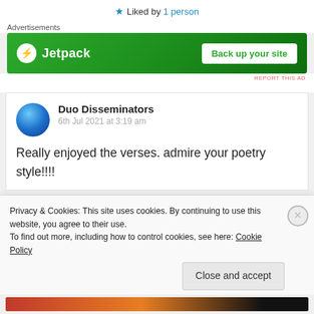★ Liked by 1 person
Advertisements
[Figure (screenshot): Jetpack advertisement banner with green background, Jetpack logo on the left, and 'Back up your site' button on the right]
REPORT THIS AD
Duo Disseminators
6th Jul 2021 at 3:19 am

Really enjoyed the verses. admire your poetry style!!!!
Privacy & Cookies: This site uses cookies. By continuing to use this website, you agree to their use.
To find out more, including how to control cookies, see here: Cookie Policy
[Close and accept]